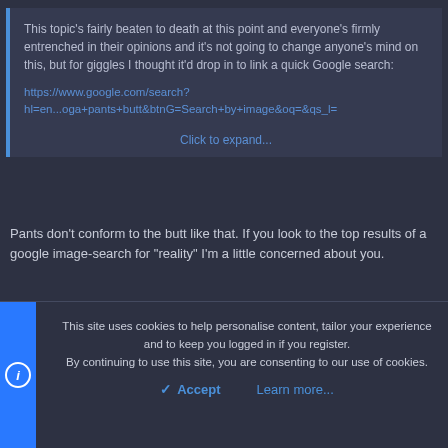This topic's fairly beaten to death at this point and everyone's firmly entrenched in their opinions and it's not going to change anyone's mind on this, but for giggles I thought it'd drop in to link a quick Google search:
https://www.google.com/search?hl=en...oga+pants+butt&btnG=Search+by+image&oq=&qs_l=
Click to expand...
Pants don't conform to the butt like that. If you look to the top results of a google image-search for "reality" I'm a little concerned about you.
Cati
&#128527;
This site uses cookies to help personalise content, tailor your experience and to keep you logged in if you register.
By continuing to use this site, you are consenting to our use of cookies.
Accept  Learn more...